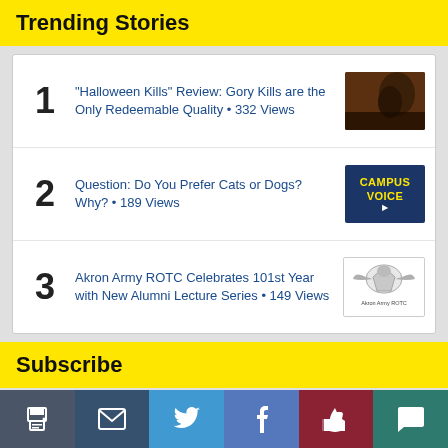Trending Stories
"Halloween Kills" Review: Gory Kills are the Only Redeemable Quality • 332 Views
Question: Do You Prefer Cats or Dogs? Why? • 189 Views
Akron Army ROTC Celebrates 101st Year with New Alumni Lecture Series • 149 Views
Subscribe
Recent Stories
[Figure (infographic): Bottom navigation bar with icons: print, email, Twitter, Facebook, like/thumbs-up, comment/speech bubble]